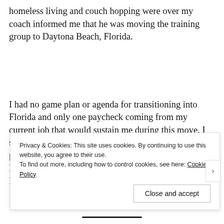homeless living and couch hopping were over my coach informed me that he was moving the training group to Daytona Beach, Florida.
I had no game plan or agenda for transitioning into Florida and only one paycheck coming from my current job that would sustain me during this move. I stayed for two weeks in Daytona with a training partner then moved to staying with a friend in Orlando, Florida. It was an hour commute from Orlando to Daytona. As time passed, the stress of my situation
Privacy & Cookies: This site uses cookies. By continuing to use this website, you agree to their use.
To find out more, including how to control cookies, see here: Cookie Policy
Close and accept